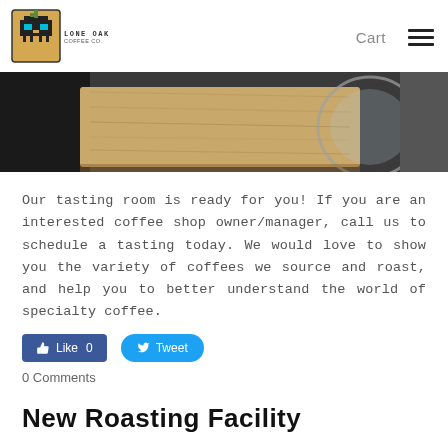Lone Oak Coffee Co. — Cart [hamburger menu]
[Figure (photo): Top-down photo of a wooden table surface with dark background elements and a circular glass object]
Our tasting room is ready for you! If you are an interested coffee shop owner/manager, call us to schedule a tasting today. We would love to show you the variety of coffees we source and roast, and help you to better understand the world of specialty coffee.
[Figure (infographic): Like 0 button (Facebook) and Tweet button (Twitter)]
0 Comments
New Roasting Facility